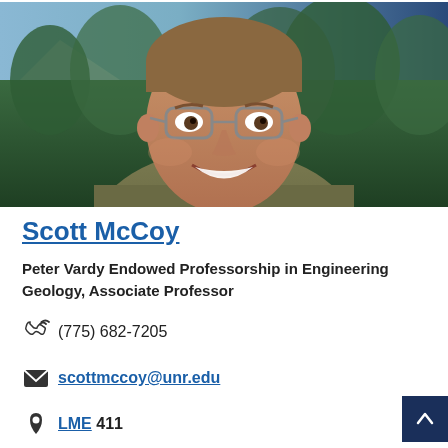[Figure (photo): Headshot of Scott McCoy, a man smiling outdoors with trees and mountains in the background, wearing a green/khaki shirt and glasses.]
Scott McCoy
Peter Vardy Endowed Professorship in Engineering Geology, Associate Professor
(775) 682-7205
scottmccoy@unr.edu
LME 411